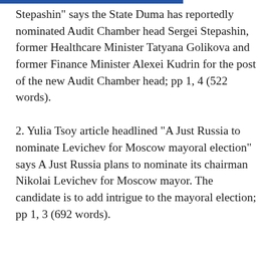Stepashin" says the State Duma has reportedly nominated Audit Chamber head Sergei Stepashin, former Healthcare Minister Tatyana Golikova and former Finance Minister Alexei Kudrin for the post of the new Audit Chamber head; pp 1, 4 (522 words).
2. Yulia Tsoy article headlined "A Just Russia to nominate Levichev for Moscow mayoral election" says A Just Russia plans to nominate its chairman Nikolai Levichev for Moscow mayor. The candidate is to add intrigue to the mayoral election; pp 1, 3 (692 words).